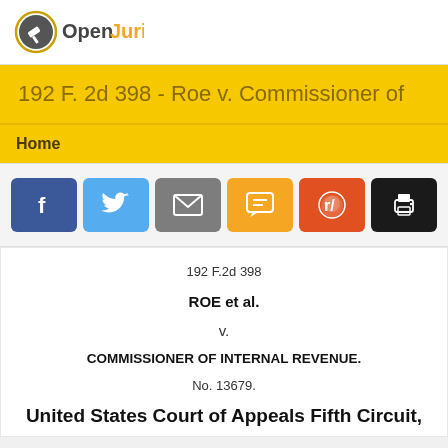OpenJurist
192 F. 2d 398 - Roe v. Commissioner of
Home
[Figure (infographic): Social sharing buttons: Facebook, Twitter, Email, SMS, Reddit, Print]
192 F.2d 398
ROE et al.
v.
COMMISSIONER OF INTERNAL REVENUE.
No. 13679.
United States Court of Appeals Fifth Circuit,